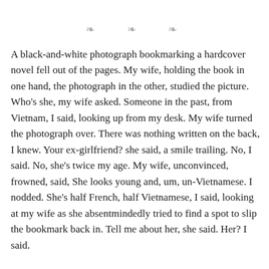❧ ❧ ❧
A black-and-white photograph bookmarking a hardcover novel fell out of the pages. My wife, holding the book in one hand, the photograph in the other, studied the picture. Who's she, my wife asked. Someone in the past, from Vietnam, I said, looking up from my desk. My wife turned the photograph over. There was nothing written on the back, I knew. Your ex-girlfriend? she said, a smile trailing. No, I said. No, she's twice my age. My wife, unconvinced, frowned, said, She looks young and, um, un-Vietnamese. I nodded. She's half French, half Vietnamese, I said, looking at my wife as she absentmindedly tried to find a spot to slip the bookmark back in. Tell me about her, she said. Her? I said.